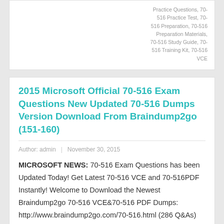Practice Questions, 70-516 Practice Test, 70-516 Preparation, 70-516 Preparation Materials, 70-516 Study Guide, 70-516 Training Kit, 70-516 VCE
2015 Microsoft Official 70-516 Exam Questions New Updated 70-516 Dumps Version Download From Braindump2go (151-160)
Author: admin  |  November 30, 2015
MICROSOFT NEWS: 70-516 Exam Questions has been Updated Today! Get Latest 70-516 VCE and 70-516PDF Instantly! Welcome to Download the Newest Braindump2go 70-516 VCE&70-516 PDF Dumps: http://www.braindump2go.com/70-516.html (286 Q&As) Important News: Microsoft 70-516 Exam Questions are been